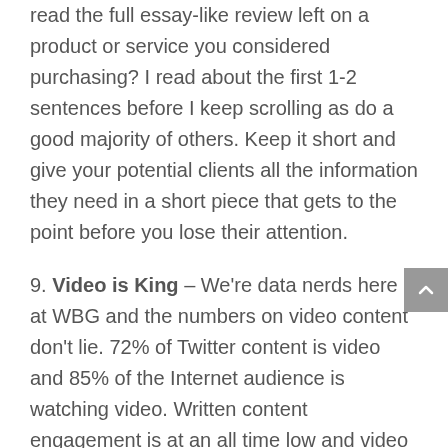read the full essay-like review left on a product or service you considered purchasing? I read about the first 1-2 sentences before I keep scrolling as do a good majority of others. Keep it short and give your potential clients all the information they need in a short piece that gets to the point before you lose their attention.
9. Video is King – We're data nerds here at WBG and the numbers on video content don't lie. 72% of Twitter content is video and 85% of the Internet audience is watching video. Written content engagement is at an all time low and video rules our digital interface. So what does this mean for you? If you can create compelling video reviews from your clients, they will resonate with your leads and there is a higher probability they will engage with the review longer than a written one. Don't get me